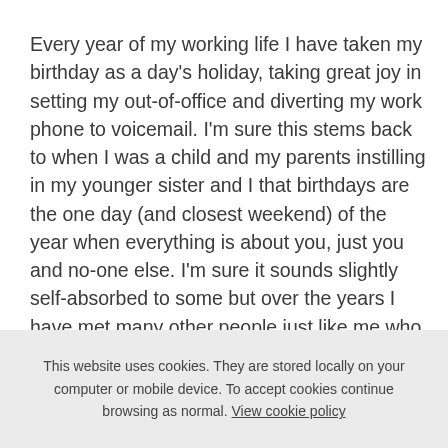Every year of my working life I have taken my birthday as a day's holiday, taking great joy in setting my out-of-office and diverting my work phone to voicemail. I'm sure this stems back to when I was a child and my parents instilling in my younger sister and I that birthdays are the one day (and closest weekend) of the year when everything is about you, just you and no-one else. I'm sure it sounds slightly self-absorbed to some but over the years I have met many other people just like me who revel in the one day a year when it's okay to have ice-cream for breakfast, cake for lunch and wine for dinner if that's what you choose.
This year of course, I am in charge of the business I work for its my company, my decision. The buck stops with me, my decisions are made and then used then there's no-one else to pick up the slack. So on
This website uses cookies. They are stored locally on your computer or mobile device. To accept cookies continue browsing as normal. View cookie policy